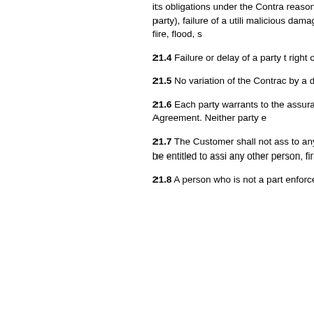its obligations under the Contra reasonable control, including st any other party), failure of a utili malicious damage, compliance w plant or machinery, fire, flood, s
21.4 Failure or delay of a party to exercise any right or any other right, nor ope thereafter.
21.5 No variation of the Contrac by a duly authorised representa
21.6 Each party warrants to the assurance, promise or warranty this Agreement. Neither party e
21.7 The Customer shall not ass to any other person, firm or bo Zenith shall be entitled to assi any other person, firm or body
21.8 A person who is not a part enforce any terms of the Contr